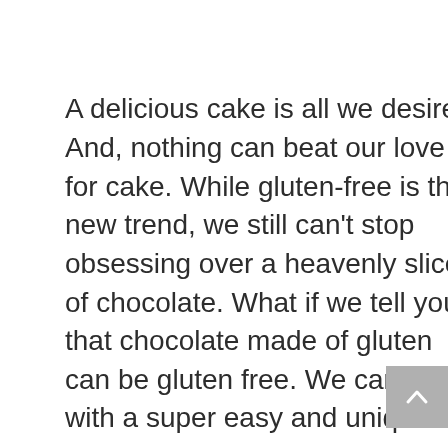A delicious cake is all we desire. And, nothing can beat our love for cake. While gluten-free is the new trend, we still can't stop obsessing over a heavenly slice of chocolate. What if we tell you that chocolate made of gluten can be gluten free. We came up with a super easy and unique